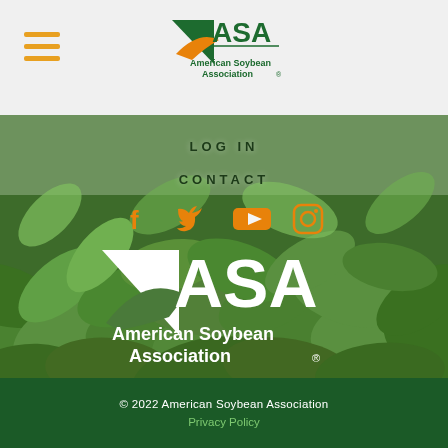[Figure (logo): American Soybean Association logo in header bar with green ASA text and orange swoosh]
LOG IN
CONTACT
[Figure (illustration): Social media icons: Facebook, Twitter, YouTube, Instagram in orange color]
[Figure (logo): Large white American Soybean Association logo overlaid on soybean field background]
© 2022 American Soybean Association
Privacy Policy